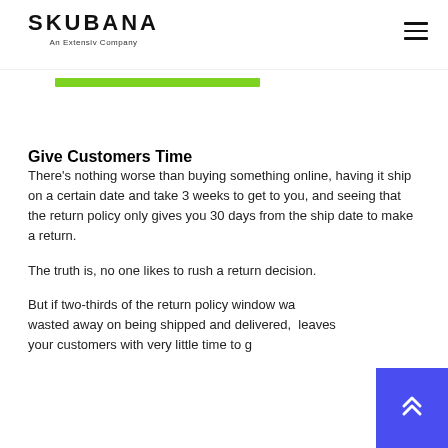SKUBANA — An Extensiv Company
Give Customers Time
There's nothing worse than buying something online, having it ship on a certain date and take 3 weeks to get to you, and seeing that the return policy only gives you 30 days from the ship date to make a return.
The truth is, no one likes to rush a return decision.
But if two-thirds of the return policy window was wasted away on being shipped and delivered, leaves your customers with very little time to g